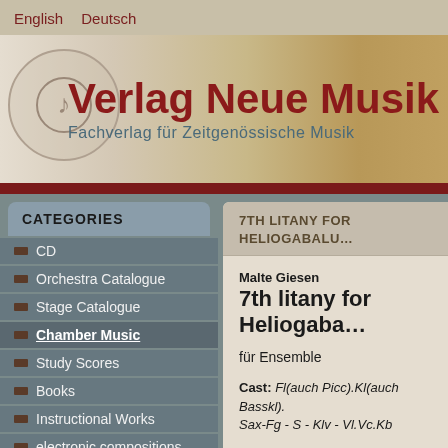English  Deutsch
[Figure (logo): Verlag Neue Musik banner with circular logo, title 'Verlag Neue Musik' in dark red bold, subtitle 'Fachverlag für Zeitgenössische Musik' in teal/slate color, background fading to warm golden tones with sheet music imagery]
CATEGORIES
CD
Orchestra Catalogue
Stage Catalogue
Chamber Music
Study Scores
Books
Instructional Works
electronic compositions
7TH LITANY FOR HELIOGABALU…
Malte Giesen
7th litany for Heliogaba…
für Ensemble
Cast: Fl(auch Picc).Kl(auch Basskl). Sax-Fg - S - Klv - Vl.Vc.Kb
playing time: 9'